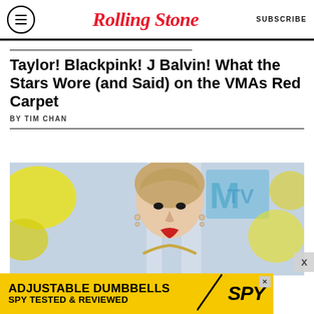Rolling Stone — SUBSCRIBE
Taylor! Blackpink! J Balvin! What the Stars Wore (and Said) on the VMAs Red Carpet
BY TIM CHAN
[Figure (photo): Taylor Swift on the VMAs red carpet, wearing a gold top and dangling earrings, with the MTV logo backdrop in blue and yellow]
ADJUSTABLE DUMBBELLS SPY TESTED & REVIEWED (advertisement)